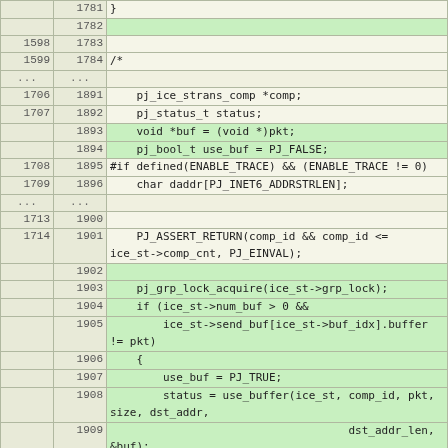| old | new | code |
| --- | --- | --- |
|  | 1781 | } |
|  | 1782 |  |
| 1598 | 1783 |  |
| 1599 | 1784 | /* |
| ... | ... |  |
| 1706 | 1891 |     pj_ice_strans_comp *comp; |
| 1707 | 1892 |     pj_status_t status; |
|  | 1893 |     void *buf = (void *)pkt; |
|  | 1894 |     pj_bool_t use_buf = PJ_FALSE; |
| 1708 | 1895 | #if defined(ENABLE_TRACE) && (ENABLE_TRACE != 0) |
| 1709 | 1896 |     char daddr[PJ_INET6_ADDRSTRLEN]; |
| ... | ... |  |
| 1713 | 1900 |  |
| 1714 | 1901 |     PJ_ASSERT_RETURN(comp_id && comp_id <=
ice_st->comp_cnt, PJ_EINVAL); |
|  | 1902 |  |
|  | 1903 |     pj_grp_lock_acquire(ice_st->grp_lock); |
|  | 1904 |     if (ice_st->num_buf > 0 && |
|  | 1905 |         ice_st->send_buf[ice_st->buf_idx].buffer
!= pkt) |
|  | 1906 |     { |
|  | 1907 |         use_buf = PJ_TRUE; |
|  | 1908 |         status = use_buffer(ice_st, comp_id, pkt,
size, dst_addr, |
|  | 1909 |                                     dst_addr_len, &buf); |
|  | 1910 |         if (status == PJ_EPENDING || status !=
PJ_SUCCESS) { |
|  | 1911 |             pj_grp_lock_release(ice_st-
>grp_lock); |
|  | 1912 |             return status; |
|  | 1913 |         } |
|  | 1914 |     } |
|  | 1915 |     pj_grp_lock_release(ice_st->grp_lock); |